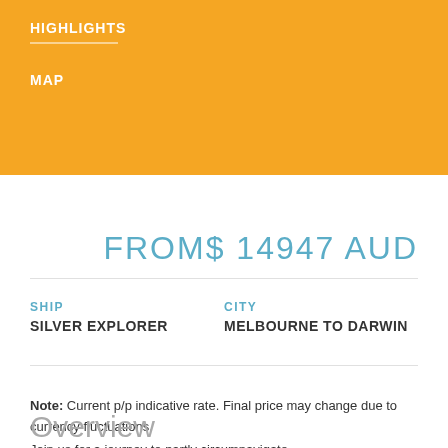HIGHLIGHTS
MAP
FROM$ 14947 AUD
Note: Current p/p indicative rate. Final price may change due to currency fluctuations.
SHIP
SILVER EXPLORER
CITY
MELBOURNE TO DARWIN
Overview
Join us for a journey to partly circumnavigate